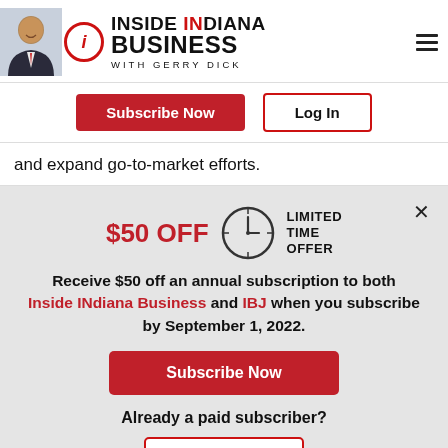[Figure (logo): Inside INdiana Business with Gerry Dick logo with person photo and hamburger menu]
Subscribe Now | Log In
and expand go-to-market efforts.
$50 OFF LIMITED TIME OFFER Receive $50 off an annual subscription to both Inside INdiana Business and IBJ when you subscribe by September 1, 2022.
Subscribe Now
Already a paid subscriber?
Log In